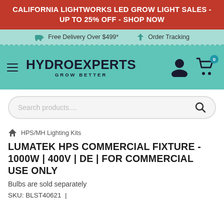CALIFORNIA LIGHTWORKS LED GROW LIGHT SALES - UP TO 25% OFF - SHOP NOW
Free Delivery Over $499*   Order Tracking
[Figure (logo): HydroExperts logo with hamburger menu, cart icon showing 0 items, and user icon on teal background]
Search products....
HPS/MH Lighting Kits
LUMATEK HPS COMMERCIAL FIXTURE - 1000W | 400V | DE | FOR COMMERCIAL USE ONLY
Bulbs are sold separately
SKU: BLST40621  |